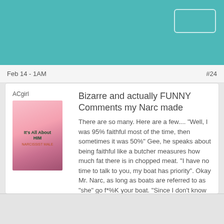Feb 14 - 1AM  #24
ACgirl
Bizarre and actually FUNNY Comments my Narc made
There are so many. Here are a few.... "Well, I was 95% faithful most of the time, then sometimes it was 50%" Gee, he speaks about being faithful like a butcher measures how much fat there is in chopped meat. "I have no time to talk to you, my boat has priority". Okay Mr. Narc, as long as boats are referred to as "she" go f*%K your boat. "Since I don't know how I feel, I guess I will let you see other people". Oh thanks mommie for letting me go out and play today.